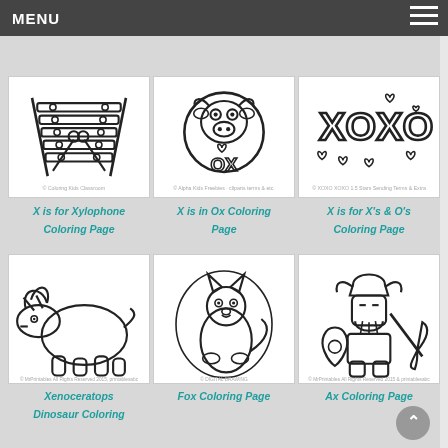MENU
[Figure (illustration): Coloring page thumbnail: X is for Xylophone - line drawing of a xylophone with mallets]
[Figure (illustration): Coloring page thumbnail: X is in Ox - line drawing of a cartoon ox]
[Figure (illustration): Coloring page thumbnail: X is for X's and O's - line drawing with XOXO and hearts]
X is for Xylophone Coloring Page
X is in Ox Coloring Page
X is for X's & O's Coloring Page
[Figure (illustration): Coloring page thumbnail: Xenoceratops Dinosaur - line drawing of a triceratops-like dinosaur]
[Figure (illustration): Coloring page thumbnail: Fox Coloring Page - line drawing of a fox sitting]
[Figure (illustration): Coloring page thumbnail: Ax Coloring Page - line drawing of a viking warrior with an axe]
Xenoceratops Dinosaur Coloring
Fox Coloring Page
Ax Coloring Page